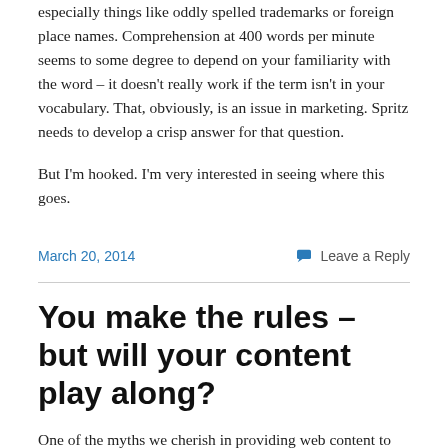especially things like oddly spelled trademarks or foreign place names. Comprehension at 400 words per minute seems to some degree to depend on your familiarity with the word – it doesn't really work if the term isn't in your vocabulary. That, obviously, is an issue in marketing. Spritz needs to develop a crisp answer for that question.
But I'm hooked. I'm very interested in seeing where this goes.
March 20, 2014
Leave a Reply
You make the rules – but will your content play along?
One of the myths we cherish in providing web content to